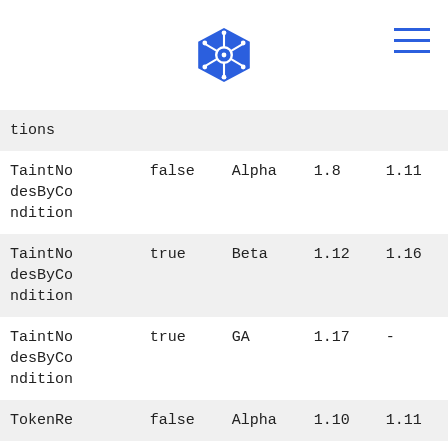Kubernetes logo and navigation
| tions |  |  |  |  |
| TaintNodesByCondition | false | Alpha | 1.8 | 1.11 |
| TaintNodesByCondition | true | Beta | 1.12 | 1.16 |
| TaintNodesByCondition | true | GA | 1.17 | - |
| TokenRe | false | Alpha | 1.10 | 1.11 |